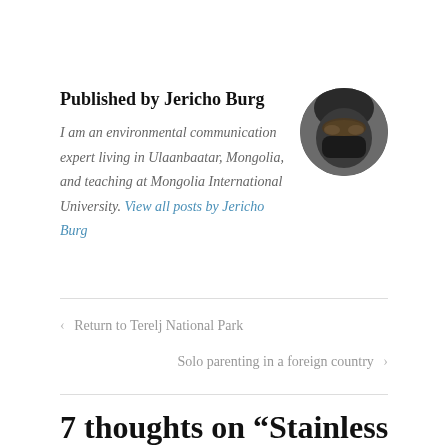Published by Jericho Burg
I am an environmental communication expert living in Ulaanbaatar, Mongolia, and teaching at Mongolia International University. View all posts by Jericho Burg
[Figure (photo): Circular avatar photo of Jericho Burg wearing a dark balaclava/mask and hat in cold weather]
‹ Return to Terelj National Park
Solo parenting in a foreign country ›
7 thoughts on “Stainless